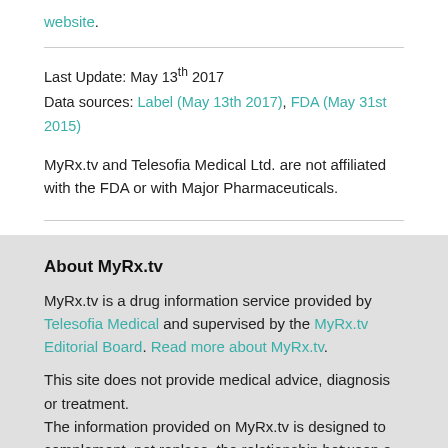Read more about Hydralazine Hydrochloride 25mg on the FDA website.
Last Update: May 13th 2017
Data sources: Label (May 13th 2017), FDA (May 31st 2015)
MyRx.tv and Telesofia Medical Ltd. are not affiliated with the FDA or with Major Pharmaceuticals.
About MyRx.tv
MyRx.tv is a drug information service provided by Telesofia Medical and supervised by the MyRx.tv Editorial Board. Read more about MyRx.tv.
This site does not provide medical advice, diagnosis or treatment.
The information provided on MyRx.tv is designed to complement, not replace, the relationship between a patient...